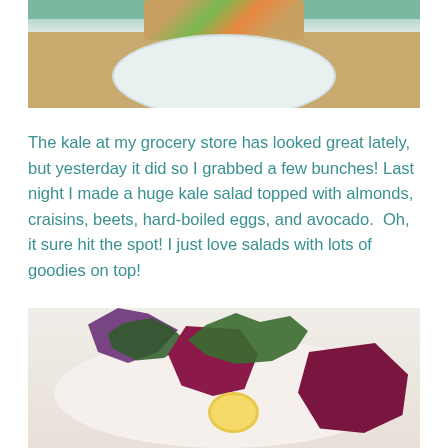[Figure (photo): Top photo showing a plate with colorful vegetables/salad on a wooden table surface, cropped at top of page showing bottom half of plate]
The kale at my grocery store has looked great lately, but yesterday it did so I grabbed a few bunches! Last night I made a huge kale salad topped with almonds, craisins, beets, hard-boiled eggs, and avocado.  Oh, it sure hit the spot! I just love salads with lots of goodies on top!
[Figure (photo): Bottom photo showing a close-up of a kale salad on a white plate with visible beets (deep red/purple), dark leafy greens, and a yellow egg yolk]